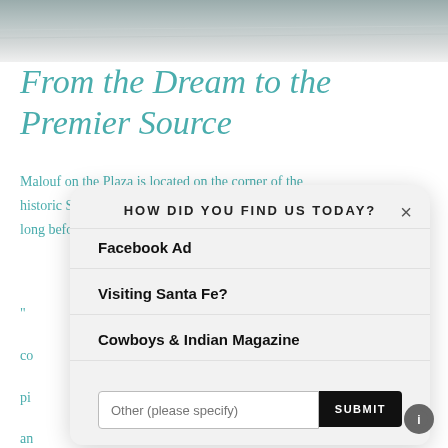[Figure (photo): Road/street photograph strip at top of page]
From the Dream to the Premier Source
Malouf on the Plaza is located on the corner of the historic Santa Fe Plaza, a bustling center of commerce long before the Pilgrims arrived at Pl…
[Figure (screenshot): Modal dialog overlay with title 'HOW DID YOU FIND US TODAY?' containing options: Facebook Ad, Visiting Santa Fe?, Cowboys & Indian Magazine, and an 'Other (please specify)' text input with SUBMIT button. A close (×) button is in the top right.]